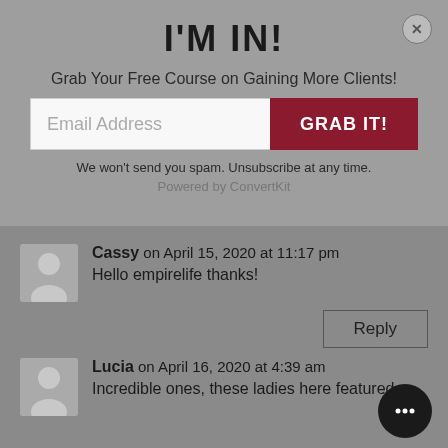I'M IN!
Grab Your Free Course on Gaining More Clients!
Email Address
GRAB IT!
We won't send you spam. Unsubscribe at any time.
Powered by ConvertKit
Cassy on April 15, 2020 at 11:17 pm
Hello empirelife thanks!
Reply
Lucia on April 16, 2020 at 4:39 am
Incredible ones, these ladies here featured